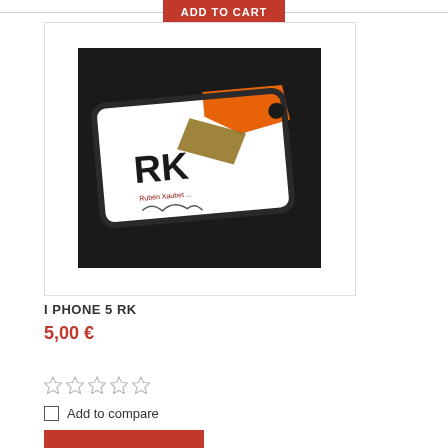ADD TO CART
[Figure (photo): iPhone 5 RK branded phone case with orange and white design featuring 'RK' logo, shown in plastic packaging on black background]
I PHONE 5 RK
5,00 €
[Figure (other): 5 empty star rating icons]
Add to compare